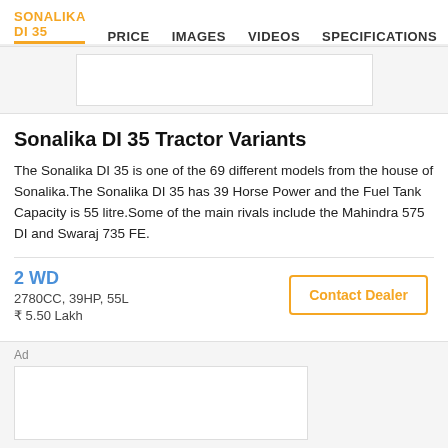SONALIKA DI 35  PRICE  IMAGES  VIDEOS  SPECIFICATIONS  F
[Figure (other): Advertisement banner placeholder (top)]
Sonalika DI 35 Tractor Variants
The Sonalika DI 35 is one of the 69 different models from the house of Sonalika.The Sonalika DI 35 has 39 Horse Power and the Fuel Tank Capacity is 55 litre.Some of the main rivals include the Mahindra 575 DI and Swaraj 735 FE.
2 WD
2780CC, 39HP, 55L
₹ 5.50 Lakh
[Figure (other): Advertisement banner placeholder (bottom)]